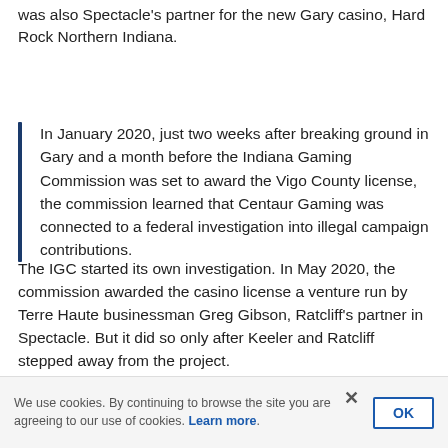was also Spectacle's partner for the new Gary casino, Hard Rock Northern Indiana.
In January 2020, just two weeks after breaking ground in Gary and a month before the Indiana Gaming Commission was set to award the Vigo County license, the commission learned that Centaur Gaming was connected to a federal investigation into illegal campaign contributions.
The IGC started its own investigation. In May 2020, the commission awarded the casino license a venture run by Terre Haute businessman Greg Gibson, Ratcliff's partner in Spectacle. But it did so only after Keeler and Ratcliff stepped away from the project.
We use cookies. By continuing to browse the site you are agreeing to our use of cookies. Learn more.